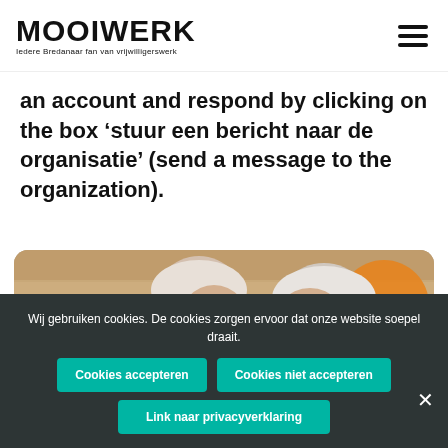MOOIWERK - Iedere Bredanaar fan van vrijwilligerswerk
an account and respond by clicking on the box ‘stuur een bericht naar de organisatie’ (send a message to the organization).
[Figure (photo): Two elderly men talking and smiling, with a wooden background and orange circular decorative shapes]
Wij gebruiken cookies. De cookies zorgen ervoor dat onze website soepel draait.
Cookies accepteren
Cookies niet accepteren
Link naar privacyverklaring